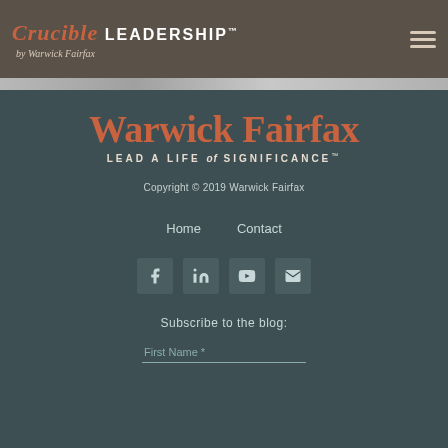Crucible LEADERSHIP™ by Warwick Fairfax
[Figure (screenshot): Decorative image strip below header]
[Figure (logo): Warwick Fairfax logo — LEAD A LIFE of SIGNIFICANCE™]
Copyright © 2019 Warwick Fairfax
Home   Contact
[Figure (infographic): Social media icons: Facebook, LinkedIn, YouTube, Email]
Subscribe to the blog:
First Name *